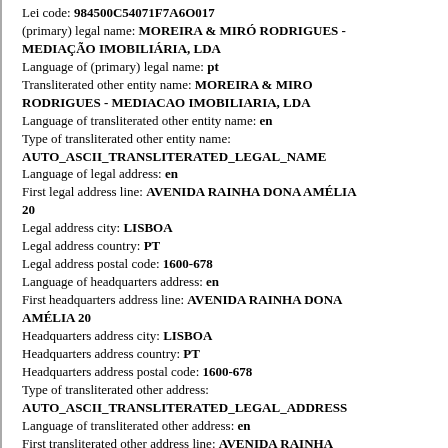Lei code: 984500C54071F7A6O017
(primary) legal name: MOREIRA & MIRÓ RODRIGUES - MEDIAÇÃO IMOBILIÁRIA, LDA
Language of (primary) legal name: pt
Transliterated other entity name: MOREIRA & MIRO RODRIGUES - MEDIACAO IMOBILIARIA, LDA
Language of transliterated other entity name: en
Type of transliterated other entity name: AUTO_ASCII_TRANSLITERATED_LEGAL_NAME
Language of legal address: en
First legal address line: AVENIDA RAINHA DONA AMÉLIA 20
Legal address city: LISBOA
Legal address country: PT
Legal address postal code: 1600-678
Language of headquarters address: en
First headquarters address line: AVENIDA RAINHA DONA AMÉLIA 20
Headquarters address city: LISBOA
Headquarters address country: PT
Headquarters address postal code: 1600-678
Type of transliterated other address: AUTO_ASCII_TRANSLITERATED_LEGAL_ADDRESS
Language of transliterated other address: en
First transliterated other address line: AVENIDA RAINHA DONA AMELIA 20
Transliterated other address city: LISBOA
Transliterated other address country: PT